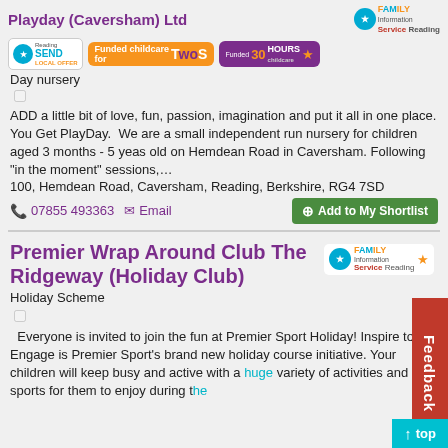Playday (Caversham) Ltd  Family Information Service Reading
[Figure (logo): Reading SEND Local Offer badge, Funded childcare for Twos badge, Funded 30 Hours childcare badge]
Day nursery
ADD a little bit of love, fun, passion, imagination and put it all in one place. You Get PlayDay. We are a small independent run nursery for children aged 3 months - 5 yeas old on Hemdean Road in Caversham. Following "in the moment" sessions,...
100, Hemdean Road, Caversham, Reading, Berkshire, RG4 7SD
07855 493363  Email  Add to My Shortlist
Premier Wrap Around Club The Ridgeway (Holiday Club)
[Figure (logo): Family Information Service Reading logo]
Holiday Scheme
Everyone is invited to join the fun at Premier Sport Holiday! Inspire to Engage is Premier Sport's brand new holiday course initiative. Your children will keep busy and active with a huge variety of activities and sports for them to enjoy during the